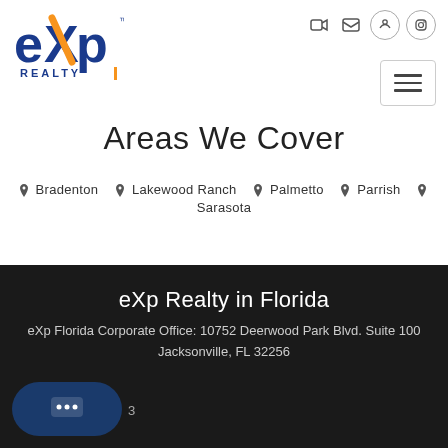[Figure (logo): eXp Realty logo with blue and orange lettering]
Areas We Cover
📍 Bradenton   📍 Lakewood Ranch   📍 Palmetto   📍 Parrish   📍 Sarasota
eXp Realty in Florida
eXp Florida Corporate Office: 10752 Deerwood Park Blvd. Suite 100 Jacksonville, FL 32256